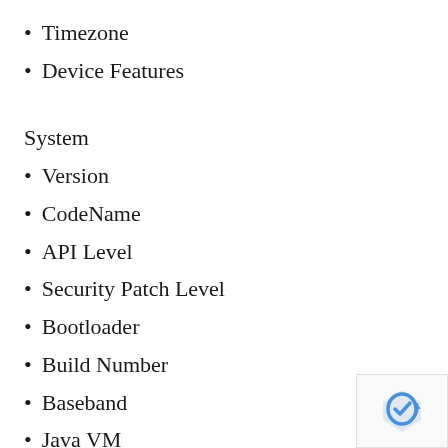Timezone
Device Features
System
Version
CodeName
API Level
Security Patch Level
Bootloader
Build Number
Baseband
Java VM
Kernel
Language